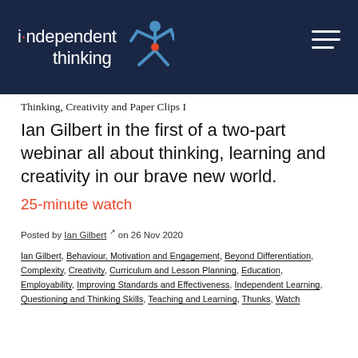independent thinking
Thinking, Creativity and Paper Clips I
Ian Gilbert in the first of a two-part webinar all about thinking, learning and creativity in our brave new world.
25-minute watch
Posted by Ian Gilbert on 26 Nov 2020
Ian Gilbert, Behaviour, Motivation and Engagement, Beyond Differentiation, Complexity, Creativity, Curriculum and Lesson Planning, Education, Employability, Improving Standards and Effectiveness, Independent Learning, Questioning and Thinking Skills, Teaching and Learning, Thunks, Watch